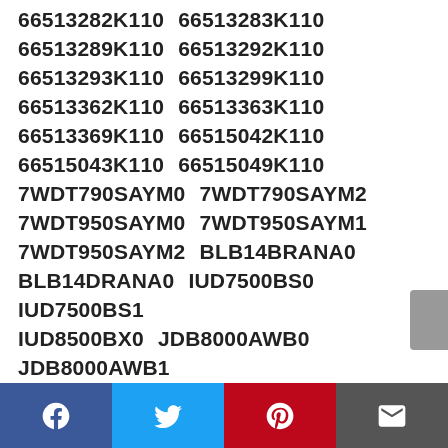66513282K110 66513283K110 66513289K110 66513292K110 66513293K110 66513299K110 66513362K110 66513363K110 66513369K110 66515042K110 66515043K110 66515049K110 7WDT790SAYM0 7WDT790SAYM2 7WDT950SAYM0 7WDT950SAYM1 7WDT950SAYM2 BLB14BRANA0 BLB14DRANA0 IUD7500BS0 IUD7500BS1 IUD8500BX0 JDB8000AWB0 JDB8000AWB1 JDB8000AWC0 JDB8000AWC1 JDB8000AWS0 JDB8000AWS1 JDB8200AWP0 JDB8200AWP1 JDB8200AWS0 JDB8200AWS1 JDB8500AWF1 JDB8500AWX1 JDB8500AWY1 JDB8700AWP0
Facebook Twitter Pinterest Email